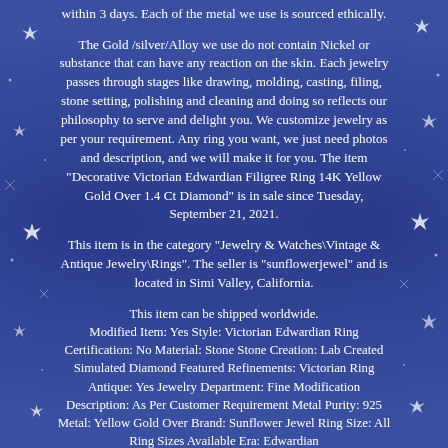within 3 days. Each of the metal we use is sourced ethically.
The Gold /silver/Alloy we use do not contain Nickel or substance that can have any reaction on the skin. Each jewelry passes through stages like drawing, molding, casting, filing, stone setting, polishing and cleaning and doing so reflects our philosophy to serve and delight you. We customize jewelry as per your requirement. Any ring you want, we just need photos and description, and we will make it for you. The item "Decorative Victorian Edwardian Filigree Ring 14K Yellow Gold Over 1.4 Ct Diamond" is in sale since Tuesday, September 21, 2021.
This item is in the category "Jewelry & Watches\Vintage & Antique Jewelry\Rings". The seller is "sunflowerjewel" and is located in Simi Valley, California.
This item can be shipped worldwide. Modified Item: Yes Style: Victorian Edwardian Ring Certification: No Material: Stone Stone Creation: Lab Created Simulated Diamond Featured Refinements: Victorian Ring Antique: Yes Jewelry Department: Fine Modification Description: As Per Customer Requirement Metal Purity: 925 Metal: Yellow Gold Over Brand: Sunflower Jewel Ring Size: All Ring Sizes Available Era: Edwardian